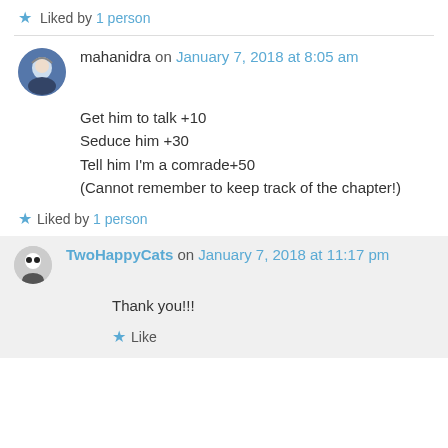★ Liked by 1 person
mahanidra on January 7, 2018 at 8:05 am
Get him to talk +10
Seduce him +30
Tell him I'm a comrade+50
(Cannot remember to keep track of the chapter!)
★ Liked by 1 person
TwoHappyCats on January 7, 2018 at 11:17 pm
Thank you!!!
★ Like